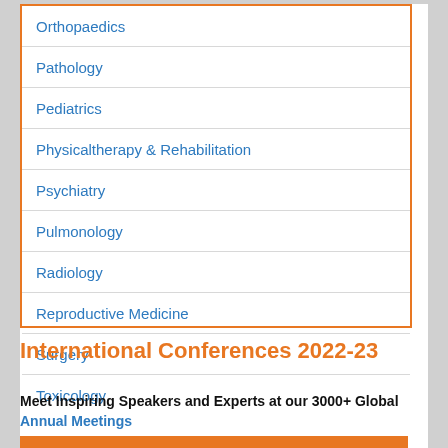Orthopaedics
Pathology
Pediatrics
Physicaltherapy & Rehabilitation
Psychiatry
Pulmonology
Radiology
Reproductive Medicine
Surgery
Toxicology
International Conferences 2022-23
Meet Inspiring Speakers and Experts at our 3000+ Global Annual Meetings